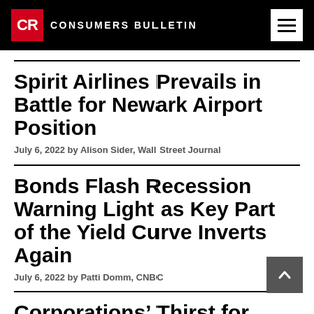CR CONSUMERS BULLETIN
Spirit Airlines Prevails in Battle for Newark Airport Position
July 6, 2022 by Alison Sider, Wall Street Journal
Bonds Flash Recession Warning Light as Key Part of the Yield Curve Inverts Again
July 6, 2022 by Patti Domm, CNBC
Corporations’ Thirst for Profits Isn’t to Blame for